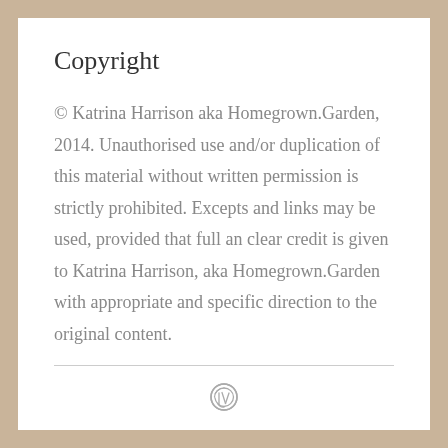Copyright
© Katrina Harrison aka Homegrown.Garden, 2014. Unauthorised use and/or duplication of this material without written permission is strictly prohibited. Excepts and links may be used, provided that full an clear credit is given to Katrina Harrison, aka Homegrown.Garden with appropriate and specific direction to the original content.
WordPress logo icon